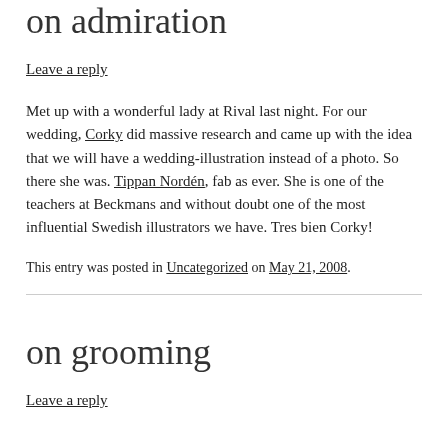on admiration
Leave a reply
Met up with a wonderful lady at Rival last night. For our wedding, Corky did massive research and came up with the idea that we will have a wedding-illustration instead of a photo. So there she was. Tippan Nordén, fab as ever. She is one of the teachers at Beckmans and without doubt one of the most influential Swedish illustrators we have. Tres bien Corky!
This entry was posted in Uncategorized on May 21, 2008.
on grooming
Leave a reply